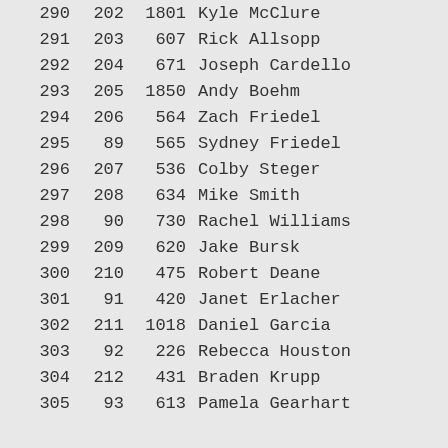| Rank | Gender Rank | Bib | Name | Sex |
| --- | --- | --- | --- | --- |
| 290 | 202 | 1801 | Kyle McClure | M |
| 291 | 203 | 607 | Rick Allsopp | M |
| 292 | 204 | 671 | Joseph Cardello | M |
| 293 | 205 | 1850 | Andy Boehm | M |
| 294 | 206 | 564 | Zach Friedel | M |
| 295 | 89 | 565 | Sydney Friedel | F |
| 296 | 207 | 536 | Colby Steger | M |
| 297 | 208 | 634 | Mike Smith | M |
| 298 | 90 | 730 | Rachel Williams | F |
| 299 | 209 | 620 | Jake Bursk | M |
| 300 | 210 | 475 | Robert Deane | M |
| 301 | 91 | 420 | Janet Erlacher | F |
| 302 | 211 | 1018 | Daniel Garcia | M |
| 303 | 92 | 226 | Rebecca Houston | F |
| 304 | 212 | 431 | Braden Krupp | M |
| 305 | 93 | 613 | Pamela Gearhart | F |